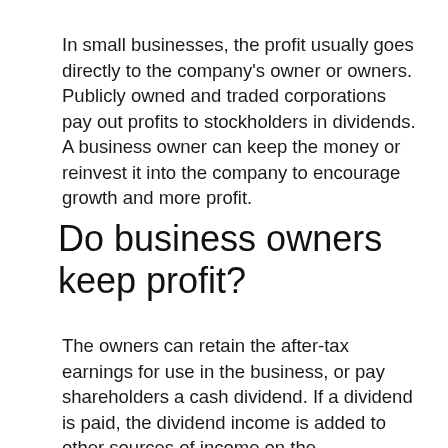In small businesses, the profit usually goes directly to the company's owner or owners. Publicly owned and traded corporations pay out profits to stockholders in dividends. A business owner can keep the money or reinvest it into the company to encourage growth and more profit.
Do business owners keep profit?
The owners can retain the after-tax earnings for use in the business, or pay shareholders a cash dividend. If a dividend is paid, the dividend income is added to other sources of income on the shareholder's personal tax